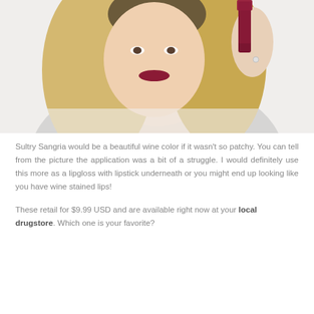[Figure (photo): A blonde woman wearing a grey t-shirt holding a dark wine/burgundy lipstick product up near her face. She is wearing the deep wine-colored lipstick on her lips. The photo is cropped to show her from roughly the chest up.]
Sultry Sangria would be a beautiful wine color if it wasn't so patchy. You can tell from the picture the application was a bit of a struggle. I would definitely use this more as a lipgloss with lipstick underneath or you might end up looking like you have wine stained lips!
These retail for $9.99 USD and are available right now at your local drugstore. Which one is your favorite?